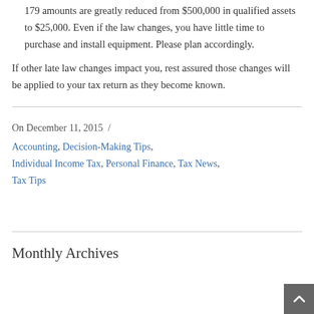179 amounts are greatly reduced from $500,000 in qualified assets to $25,000. Even if the law changes, you have little time to purchase and install equipment. Please plan accordingly.
If other late law changes impact you, rest assured those changes will be applied to your tax return as they become known.
On December 11, 2015 /
Accounting, Decision-Making Tips, Individual Income Tax, Personal Finance, Tax News, Tax Tips
Monthly Archives